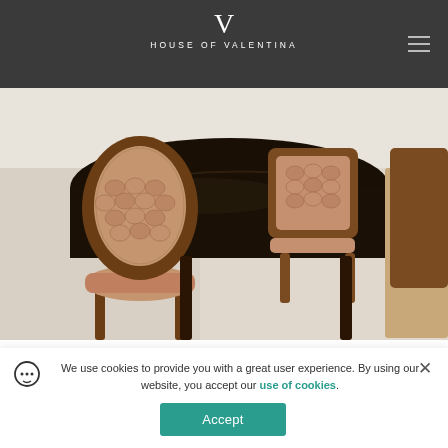HOUSE OF VALENTINA
[Figure (photo): Close-up photo of antique wooden dining chairs with patterned upholstery around a dark wooden dining table, on light carpet flooring]
So, here we are.  Right in the middle, not in the city and
We use cookies to provide you with a great user experience. By using our website, you accept our use of cookies.
Accept